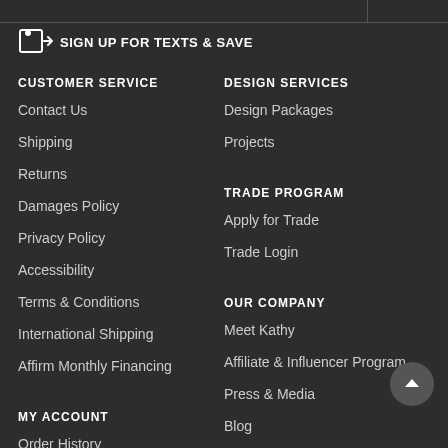SIGN UP FOR TEXTS & SAVE
CUSTOMER SERVICE
Contact Us
Shipping
Returns
Damages Policy
Privacy Policy
Accessibility
Terms & Conditions
International Shipping
Affirm Monthly Financing
MY ACCOUNT
Order History
My Projects
DESIGN SERVICES
Design Packages
Projects
TRADE PROGRAM
Apply for Trade
Trade Login
OUR COMPANY
Meet Kathy
Affiliate & Influencer Program
Press & Media
Blog
Shop Brands